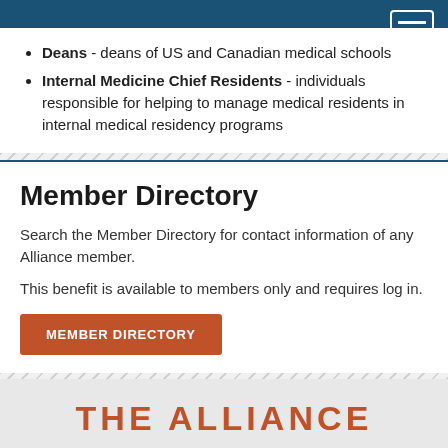Navigation bar with hamburger menu
Deans - deans of US and Canadian medical schools
Internal Medicine Chief Residents - individuals responsible for helping to manage medical residents in internal medical residency programs
Member Directory
Search the Member Directory for contact information of any Alliance member.
This benefit is available to members only and requires log in.
MEMBER DIRECTORY
THE ALLIANCE